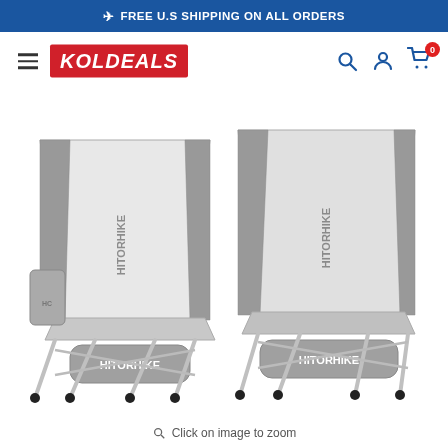✈ FREE U.S SHIPPING ON ALL ORDERS
[Figure (screenshot): KolDeals website navigation bar with hamburger menu, KOLDEALS red logo, and icons for search, account, and cart (showing 0 items)]
[Figure (photo): Two gray Hitorhike folding camping chairs with carrying bags, shown side by side on a white background. The chairs have aluminum frames, gray mesh fabric seats, and storage pouches with HITORHIKE branding.]
Click on image to zoom